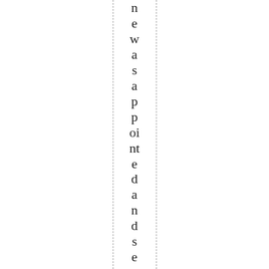newas appointed and served only fiv